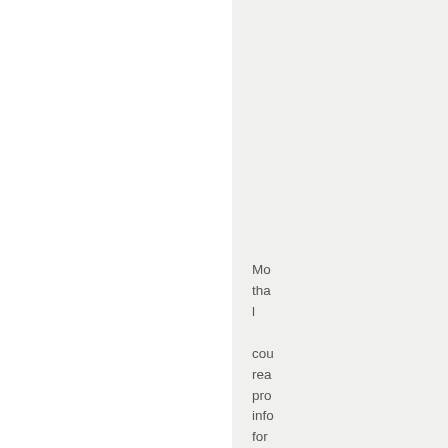Mo tha l cou rea pro info for wit the OP con out in 24:
Res Fox